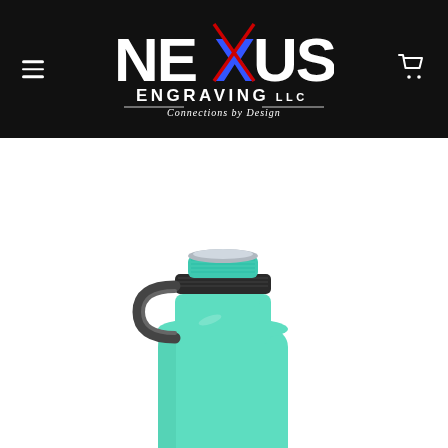Nexus Engraving LLC — Connections by Design (navigation header with hamburger menu and cart icon)
LOG IN FOR EXCLUSIVE DISCOUNTS // FREE SHIPPING in U.S. with $150+ purchase
[Figure (photo): Mint/teal colored insulated water bottle with black wide-mouth lid, teal accent ring, and carry loop, photographed from above on white background]